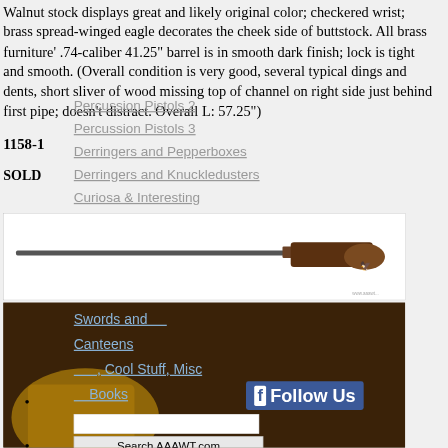Walnut stock displays great and likely original color; checkered wrist; brass spread-winged eagle decorates the cheek side of buttstock. All brass furniture' .74-caliber 41.25" barrel is in smooth dark finish; lock is tight and smooth. (Overall condition is very good, several typical dings and dents, short sliver of wood missing top of channel on right side just behind first pipe; doesn't distract. Overall L: 57.25")
1158-1
SOLD
Percussion Pistols 2
Percussion Pistols 3
Derringers and Pepperboxes
Derringers and Knuckledusters
Curiosa & Interesting
[Figure (photo): Antique long rifle / musket shown from the side against a white background]
[Figure (photo): Close-up photo of brass and wood buttstock of antique musket, dark background]
Swords and ...
Canteens
Armory, Cool Stuff, Misc
Ammo Books
Follow Us
Search AAAWT.com